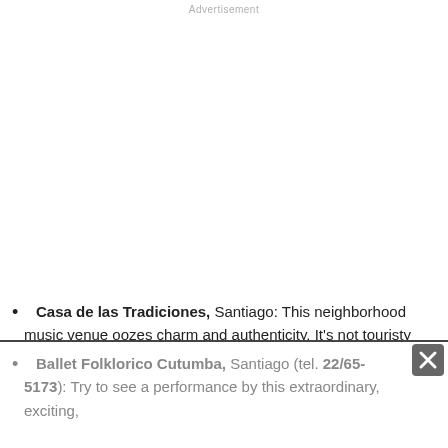Advertisement
Casa de las Tradiciones, Santiago: This neighborhood music venue oozes charm and authenticity. It's not touristy and makes for a great night out regardless of the changing musical genre.
Ballet Folklorico Cutumba, Santiago (tel. 22/65-5173): Try to see a performance by this extraordinary, exciting,